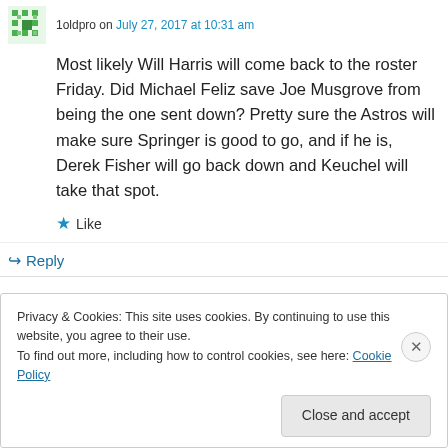1oldpro on July 27, 2017 at 10:31 am
Most likely Will Harris will come back to the roster Friday. Did Michael Feliz save Joe Musgrove from being the one sent down? Pretty sure the Astros will make sure Springer is good to go, and if he is, Derek Fisher will go back down and Keuchel will take that spot.
★ Like
↳ Reply
Privacy & Cookies: This site uses cookies. By continuing to use this website, you agree to their use.
To find out more, including how to control cookies, see here: Cookie Policy
Close and accept